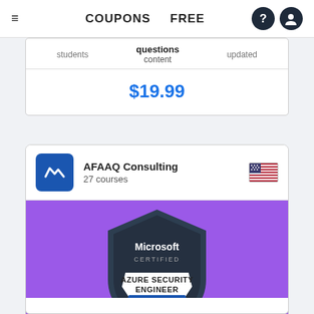COUPONS   FREE
| students | questions content | updated |
| --- | --- | --- |
|  |  |  |
$19.99
AFAAQ Consulting
27 courses
[Figure (logo): Microsoft Certified Azure Security Engineer Associate badge on purple background]